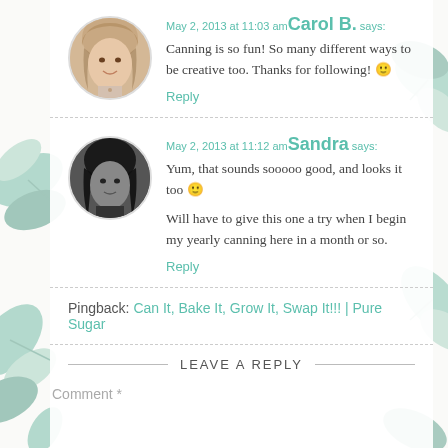May 2, 2013 at 11:03 am Carol B. says:
Canning is so fun! So many different ways to be creative too. Thanks for following! 🙂
Reply
May 2, 2013 at 11:12 am Sandra says:
Yum, that sounds sooooo good, and looks it too 🙂
Will have to give this one a try when I begin my yearly canning here in a month or so.
Reply
Pingback: Can It, Bake It, Grow It, Swap It!!! | Pure Sugar
LEAVE A REPLY
Comment *